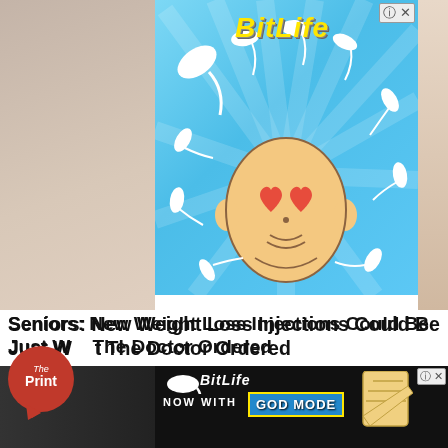[Figure (illustration): BitLife app advertisement banner with cartoon sperm cells surrounding a bald emoji face with heart eyes on a blue radial background. BitLife logo in yellow italic bold text at top. Close/info buttons in top right.]
Seniors: New Weight Loss Injections Could Be Just What The Doctor Ordered
[Figure (logo): The Print circular red logo with speech bubble tail]
Pills | Search Ads | Sponsored
[Figure (illustration): BitLife advertisement: NOW WITH GOD MODE text over dark background with sperm logo, lightning bolt, pointing hand graphic, and close/info buttons.]